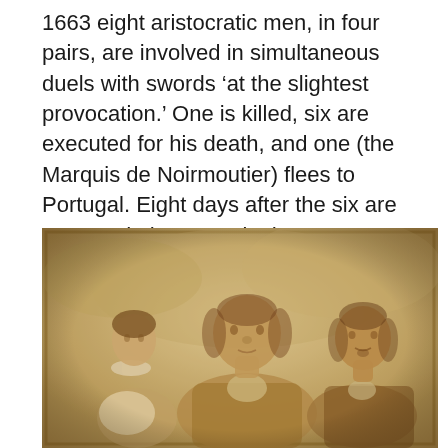1663 eight aristocratic men, in four pairs, are involved in simultaneous duels with swords 'at the slightest provocation.' One is killed, six are executed for his death, and one (the Marquis de Noirmoutier) flees to Portugal. Eight days after the six are executed, the Marquis de Noirmoutier's fiance, Francoise, marries Louis-Henri de Pardaillan de Gondrin, known as the Marquis de Montespan.
[Figure (photo): A sepia-toned historical portrait painting showing three figures: a woman on the left in a white dress, a heavyset man in the center, and a man on the right in period attire.]